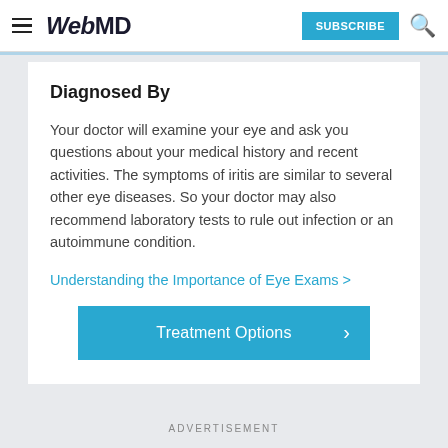WebMD — SUBSCRIBE
Diagnosed By
Your doctor will examine your eye and ask you questions about your medical history and recent activities. The symptoms of iritis are similar to several other eye diseases. So your doctor may also recommend laboratory tests to rule out infection or an autoimmune condition.
Understanding the Importance of Eye Exams >
Treatment Options >
ADVERTISEMENT